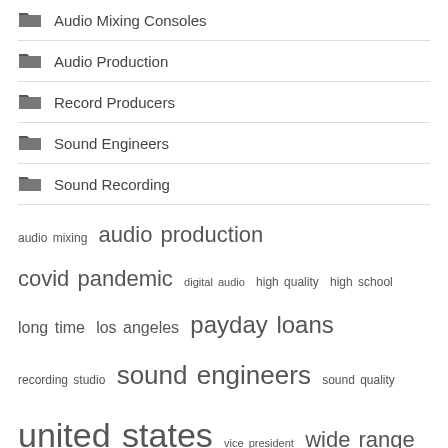Audio Mixing Consoles
Audio Production
Record Producers
Sound Engineers
Sound Recording
audio mixing  audio production  covid pandemic  digital audio  high quality  high school  long time  los angeles  payday loans  recording studio  sound engineers  sound quality  united states  vice president  wide range
Recent Posts
Kit Plugins reinvents an infamous Motown EQ: the BB Mo-Q –
Sonic the Hedgehog 2 (4K UHD review)
"One arm and one leg": how to negotiate to reduce medical bills